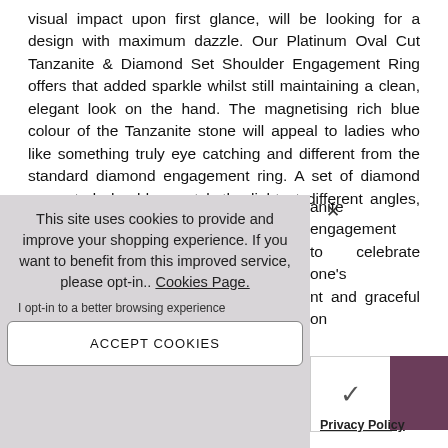visual impact upon first glance, will be looking for a design with maximum dazzle. Our Platinum Oval Cut Tanzanite & Diamond Set Shoulder Engagement Ring offers that added sparkle whilst still maintaining a clean, elegant look on the hand. The magnetising rich blue colour of the Tanzanite stone will appeal to ladies who like something truly eye catching and different from the standard diamond engagement ring. A set of diamond encrusted shoulders catch the light at different angles, adding a wonderful
anite engagement to celebrate one's nt and graceful on
[Figure (screenshot): Cookie consent overlay with message: 'This site uses cookies to provide and improve your shopping experience. If you want to benefit from this improved service, please opt-in.. Cookies Page.' An opt-in checkbox and ACCEPT COOKIES button are shown.]
Privacy Policy